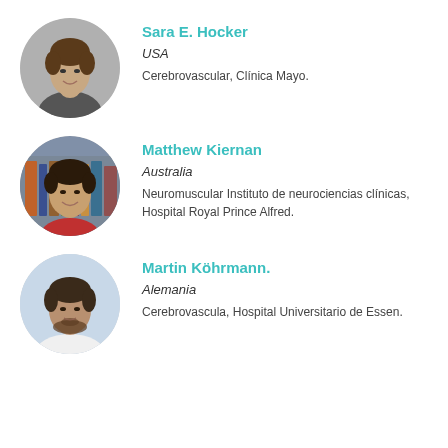[Figure (photo): Circular headshot of Sara E. Hocker, woman with short brown hair, wearing dark jacket]
Sara E. Hocker
USA
Cerebrovascular, Clínica Mayo.
[Figure (photo): Circular headshot of Matthew Kiernan, man with dark hair, smiling, wearing red shirt]
Matthew Kiernan
Australia
Neuromuscular Instituto de neurociencias clínicas, Hospital Royal Prince Alfred.
[Figure (photo): Circular headshot of Martin Köhrmann, man with short dark hair and beard, wearing white coat]
Martin Köhrmann.
Alemania
Cerebrovascula, Hospital Universitario de Essen.